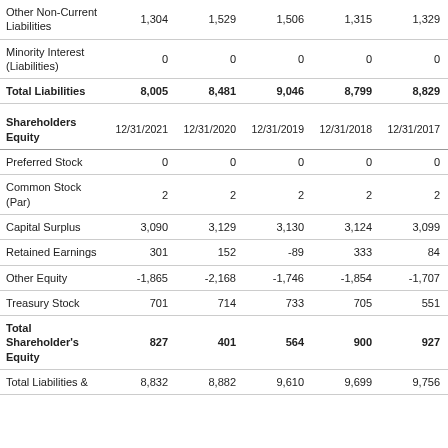|  | 12/31/2021 | 12/31/2020 | 12/31/2019 | 12/31/2018 | 12/31/2017 |
| --- | --- | --- | --- | --- | --- |
| Other Non-Current Liabilities | 1,304 | 1,529 | 1,506 | 1,315 | 1,329 |
| Minority Interest (Liabilities) | 0 | 0 | 0 | 0 | 0 |
| Total Liabilities | 8,005 | 8,481 | 9,046 | 8,799 | 8,829 |
| Shareholders Equity | 12/31/2021 | 12/31/2020 | 12/31/2019 | 12/31/2018 | 12/31/2017 |
| Preferred Stock | 0 | 0 | 0 | 0 | 0 |
| Common Stock (Par) | 2 | 2 | 2 | 2 | 2 |
| Capital Surplus | 3,090 | 3,129 | 3,130 | 3,124 | 3,099 |
| Retained Earnings | 301 | 152 | -89 | 333 | 84 |
| Other Equity | -1,865 | -2,168 | -1,746 | -1,854 | -1,707 |
| Treasury Stock | 701 | 714 | 733 | 705 | 551 |
| Total Shareholder's Equity | 827 | 401 | 564 | 900 | 927 |
| Total Liabilities & | 8,832 | 8,882 | 9,610 | 9,699 | 9,756 |